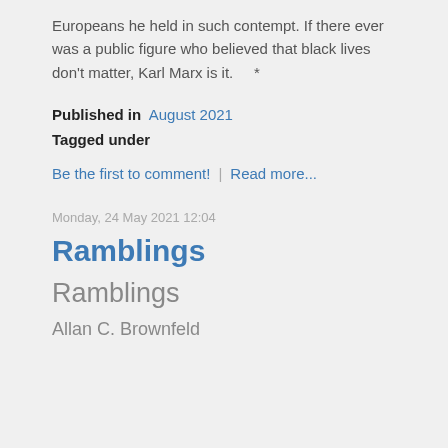Europeans he held in such contempt. If there ever was a public figure who believed that black lives don't matter, Karl Marx is it.     *
Published in  August 2021
Tagged under
Be the first to comment!  |  Read more...
Monday, 24 May 2021 12:04
Ramblings
Ramblings
Allan C. Brownfeld